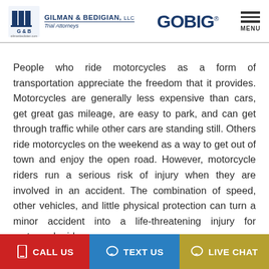GILMAN & BEDIGIAN, LLC Trial Attorneys | GOBIG | MENU
People who ride motorcycles as a form of transportation appreciate the freedom that it provides. Motorcycles are generally less expensive than cars, get great gas mileage, are easy to park, and can get through traffic while other cars are standing still. Others ride motorcycles on the weekend as a way to get out of town and enjoy the open road. However, motorcycle riders run a serious risk of injury when they are involved in an accident. The combination of speed, other vehicles, and little physical protection can turn a minor accident into a life-threatening injury for motorcycle riders.
CALL US | TEXT US | LIVE CHAT